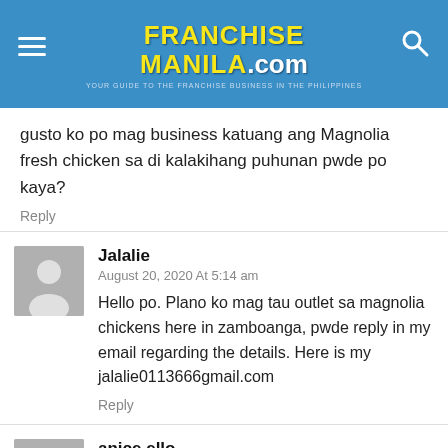FranchiseManila.com
gusto ko po mag business katuang ang Magnolia fresh chicken sa di kalakihang puhunan pwde po kaya?
Reply
Jalalie
August 20, 2020 At 5:14 am
Hello po. Plano ko mag tau outlet sa magnolia chickens here in zamboanga, pwde reply in my email regarding the details. Here is my jalalie0113666gmail.com
Reply
anice ello
September 16, 2020 At 11:14 am
how po bumili ng chicken sa mismuhg planta po?